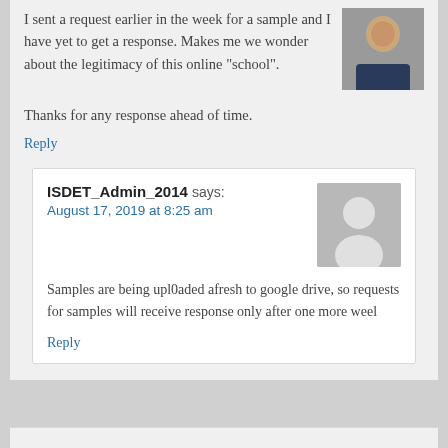I sent a request earlier in the week for a sample and I have yet to get a response. Makes me we wonder about the legitimacy of this online “school”.
[Figure (photo): Headshot photo of a man in a suit, smiling, professional portrait]
Thanks for any response ahead of time.
Reply
ISDET_Admin_2014 says:
August 17, 2019 at 8:25 am
[Figure (illustration): Generic grey silhouette avatar placeholder image]
Samples are being upl0aded afresh to google drive, so requests for samples will receive response only after one more weel
Reply